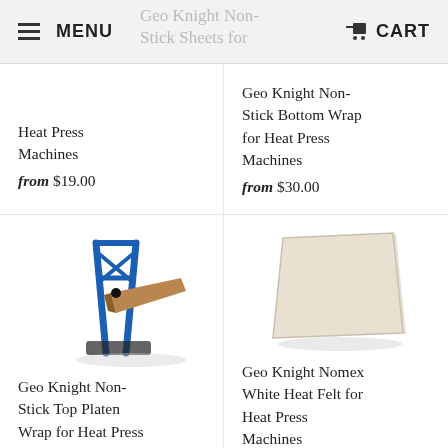MENU | CART
Geo Knight Non-Stick Sheets for
Heat Press Machines
from $19.00
Geo Knight Non-Stick Bottom Wrap for Heat Press Machines
from $30.00
[Figure (photo): Blue metal heat press machine with wooden platen arm]
Geo Knight Non-Stick Top Platen Wrap for Heat Press Machines
[Figure (photo): White/cream colored non-stick sheet or felt pad for heat press machine]
Geo Knight Nomex White Heat Felt for Heat Press Machines
from $30.00